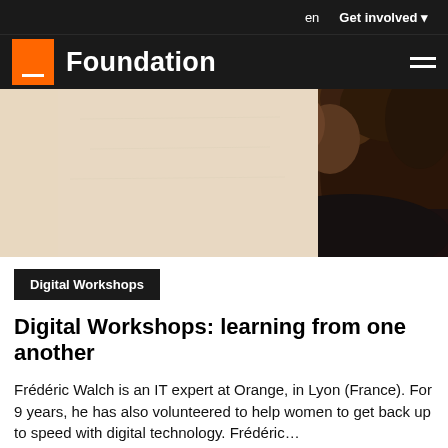en  Get involved
Foundation
[Figure (photo): Partial view of a person with curly dark hair against a beige/cream background, photo cropped to show only hair and shoulder area.]
Digital Workshops
Digital Workshops: learning from one another
Frédéric Walch is an IT expert at Orange, in Lyon (France). For 9 years, he has also volunteered to help women to get back up to speed with digital technology. Frédéric...